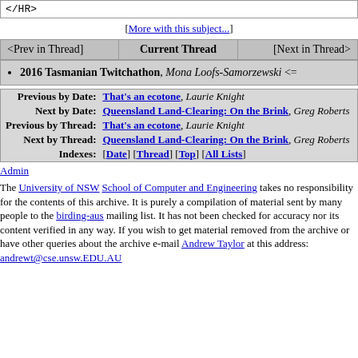</HR>
[More with this subject...]
| <Prev in Thread] | Current Thread | [Next in Thread> |
| --- | --- | --- |
2016 Tasmanian Twitchathon, Mona Loofs-Samorzewski <=
| Label | Link |
| --- | --- |
| Previous by Date: | That's an ecotone, Laurie Knight |
| Next by Date: | Queensland Land-Clearing: On the Brink, Greg Roberts |
| Previous by Thread: | That's an ecotone, Laurie Knight |
| Next by Thread: | Queensland Land-Clearing: On the Brink, Greg Roberts |
| Indexes: | [Date] [Thread] [Top] [All Lists] |
Admin
The University of NSW School of Computer and Engineering takes no responsibility for the contents of this archive. It is purely a compilation of material sent by many people to the birding-aus mailing list. It has not been checked for accuracy nor its content verified in any way. If you wish to get material removed from the archive or have other queries about the archive e-mail Andrew Taylor at this address: andrewt@cse.unsw.EDU.AU